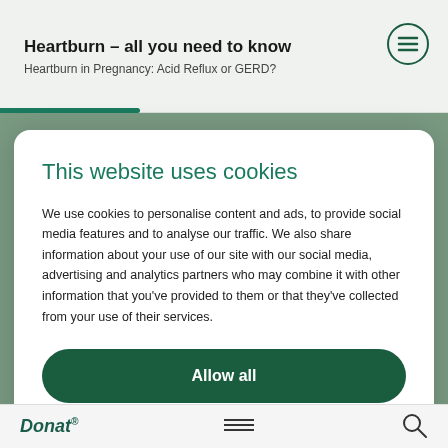Heartburn — all you need to know
Heartburn in Pregnancy: Acid Reflux or GERD?
This website uses cookies
We use cookies to personalise content and ads, to provide social media features and to analyse our traffic. We also share information about your use of our site with our social media, advertising and analytics partners who may combine it with other information that you've provided to them or that they've collected from your use of their services.
Allow all
Deny
Show details
Donat